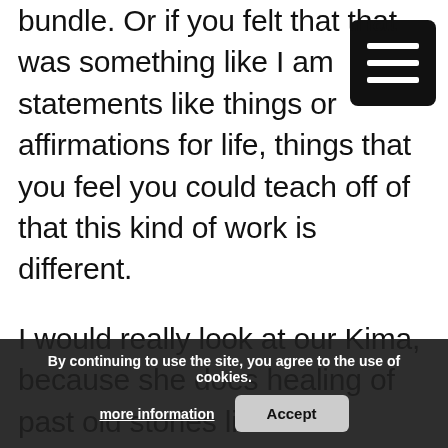bundle. Or if you felt that that was something like I am statements like things or affirmations for life, things that you feel you could teach off of that this kind of work is different.
I would really look at our Kima, because she does healing of past old stories like that rebirthing. And she has a lot of these different compartments. What I had thought about is like, on my level, not necessarily the clients level, but for stages of consciousness… know that I could literally have those pillars under each stage of
By continuing to use the site, you agree to the use of cookies. more information   Accept